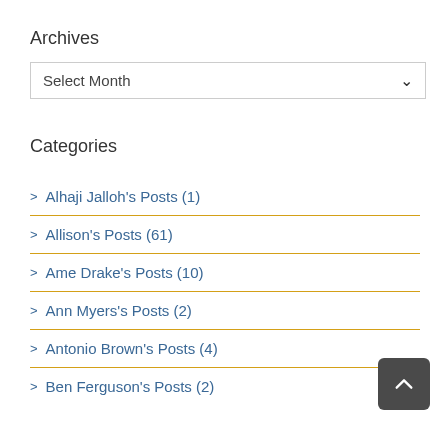Archives
Select Month
Categories
> Alhaji Jalloh's Posts (1)
> Allison's Posts (61)
> Ame Drake's Posts (10)
> Ann Myers's Posts (2)
> Antonio Brown's Posts (4)
> Ben Ferguson's Posts (2)